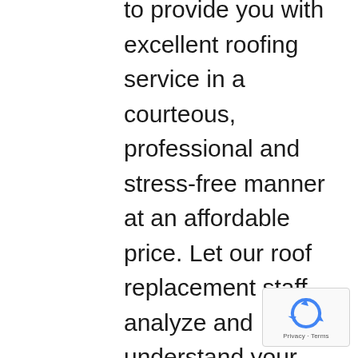to provide you with excellent roofing service in a courteous, professional and stress-free manner at an affordable price. Let our roof replacement staff analyze and understand your roofing system, provide advice and options and find you an affordable – yet effective – solution for your current roofing problems. Expressway Roofing & Chimney is a Miller Place contractor that specializes in providing expert shingle and metal and flat roofing
[Figure (other): reCAPTCHA badge with rotating arrows logo and 'Privacy - Terms' text]